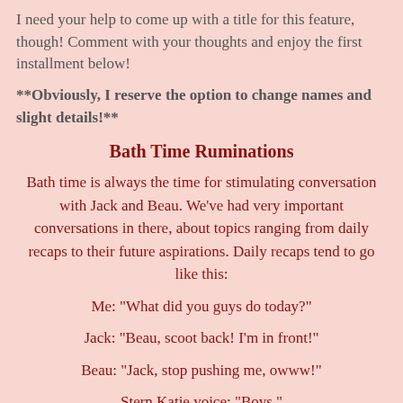I need your help to come up with a title for this feature, though! Comment with your thoughts and enjoy the first installment below!
**Obviously, I reserve the option to change names and slight details!**
Bath Time Ruminations
Bath time is always the time for stimulating conversation with Jack and Beau. We’ve had very important conversations in there, about topics ranging from daily recaps to their future aspirations. Daily recaps tend to go like this:
Me: “What did you guys do today?”
Jack: “Beau, scoot back! I’m in front!”
Beau: “Jack, stop pushing me, owww!”
Stern Katie voice: “Boys.”